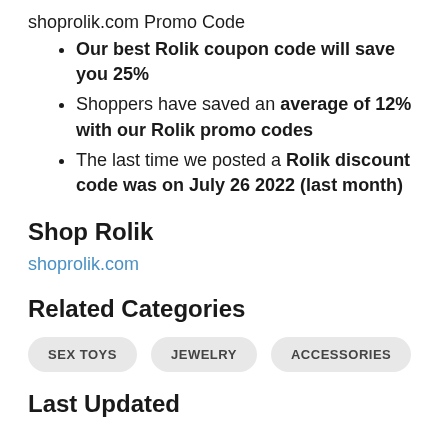shoprolik.com Promo Code
Our best Rolik coupon code will save you 25%
Shoppers have saved an average of 12% with our Rolik promo codes
The last time we posted a Rolik discount code was on July 26 2022 (last month)
Shop Rolik
shoprolik.com
Related Categories
SEX TOYS
JEWELRY
ACCESSORIES
Last Updated